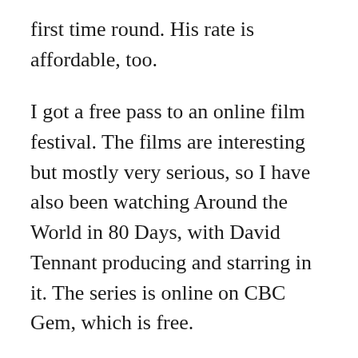first time round. His rate is affordable, too.
I got a free pass to an online film festival. The films are interesting but mostly very serious, so I have also been watching Around the World in 80 Days, with David Tennant producing and starring in it. The series is online on CBC Gem, which is free.
I used a free gift card from loyalty points to buy 2 dozen eggs to freeze. (They cost